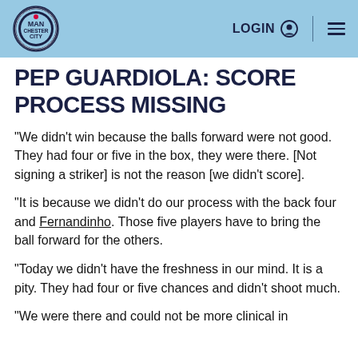Manchester City — LOGIN | navigation menu
PEP GUARDIOLA: SCORE PROCESS MISSING
"We didn't win because the balls forward were not good. They had four or five in the box, they were there. [Not signing a striker] is not the reason [we didn't score].
"It is because we didn't do our process with the back four and Fernandinho. Those five players have to bring the ball forward for the others.
"Today we didn't have the freshness in our mind. It is a pity. They had four or five chances and didn't shoot much.
"We were there and could not be more clinical in...